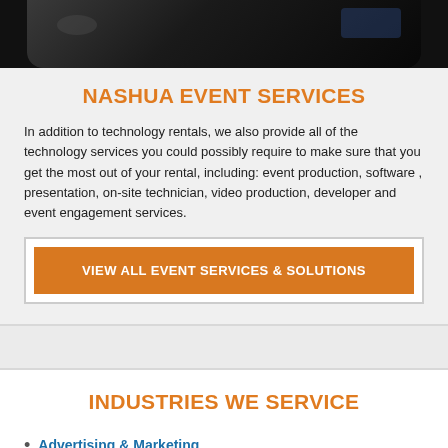[Figure (photo): Dark photo of people at an event, partially visible at the top of the page]
NASHUA EVENT SERVICES
In addition to technology rentals, we also provide all of the technology services you could possibly require to make sure that you get the most out of your rental, including: event production, software , presentation, on-site technician, video production, developer and event engagement services.
VIEW ALL EVENT SERVICES & SOLUTIONS
INDUSTRIES WE SERVICE
Advertising & Marketing